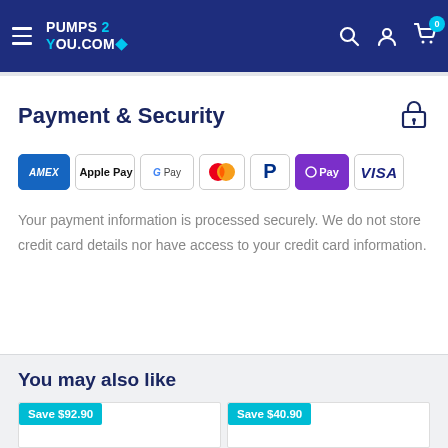PUMPS 2 YOU.COM
Payment & Security
[Figure (other): Payment method logos: American Express, Apple Pay, Google Pay, Mastercard, PayPal, O Pay, Visa]
Your payment information is processed securely. We do not store credit card details nor have access to your credit card information.
You may also like
[Figure (other): Product card with Save $92.90 badge]
[Figure (other): Product card with Save $40.90 badge]